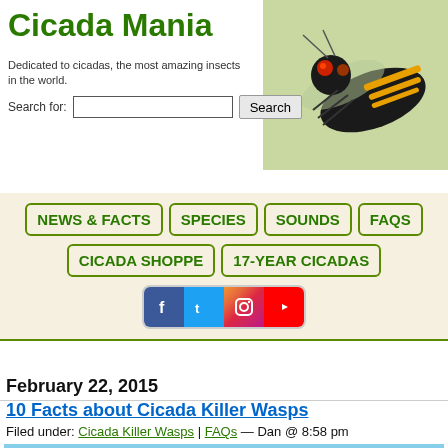Cicada Mania
Dedicated to cicadas, the most amazing insects in the world.
[Figure (photo): Close-up photo of a cicada with orange/red eyes and black and yellow body against a light background]
NEWS & FACTS | SPECIES | SOUNDS | FAQS | CICADA SHOPPE | 17-YEAR CICADAS
[Figure (other): Social media icons: Facebook (blue), Twitter (light blue), Instagram (gradient), YouTube (red)]
February 22, 2015
10 Facts about Cicada Killer Wasps
Filed under: Cicada Killer Wasps | FAQs — Dan @ 8:58 pm
[Figure (photo): Photo of a cicada killer wasp against a blue sky background]